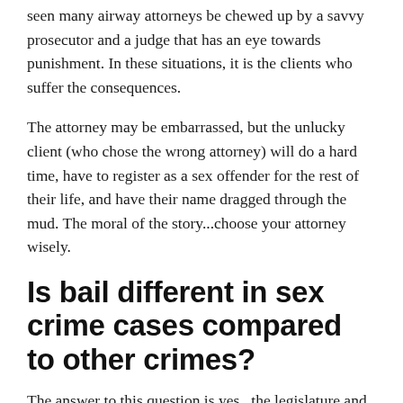seen many airway attorneys be chewed up by a savvy prosecutor and a judge that has an eye towards punishment. In these situations, it is the clients who suffer the consequences.
The attorney may be embarrassed, but the unlucky client (who chose the wrong attorney) will do a hard time, have to register as a sex offender for the rest of their life, and have their name dragged through the mud. The moral of the story...choose your attorney wisely.
Is bail different in sex crime cases compared to other crimes?
The answer to this question is yes...the legislature and judges have made it abundantly clear that they will set higher bails on sex crime cases in Los Angeles and across the country.